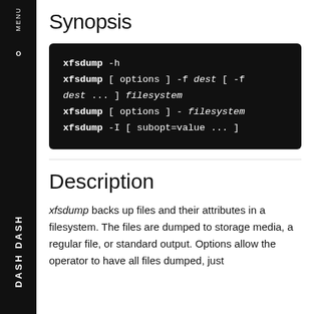Synopsis
xfsdump -h
xfsdump [ options ] -f dest [ -f dest ... ] filesystem
xfsdump [ options ] - filesystem
xfsdump -I [ subopt=value ... ]
Description
xfsdump backs up files and their attributes in a filesystem. The files are dumped to storage media, a regular file, or standard output. Options allow the operator to have all files dumped, just files...